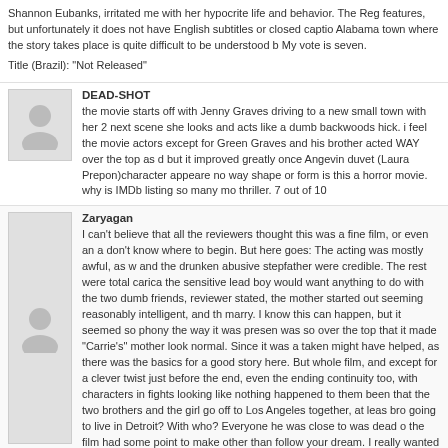Shannon Eubanks, irritated me with her hypocrite life and behavior. The Reg features, but unfortunately it does not have English subtitles or closed captio Alabama town where the story takes place is quite difficult to be understood b My vote is seven.

Title (Brazil): "Not Released"
DEAD-SHOT
the movie starts off with Jenny Graves driving to a new small town with her 2 next scene she looks and acts like a dumb backwoods hick. i feel the movie actors except for Green Graves and his brother acted WAY over the top as d but it improved greatly once Angevin duvet (Laura Prepon)character appeare no way shape or form is this a horror movie. why is IMDb listing so many mo thriller. 7 out of 10
Zaryagan
I can't believe that all the reviewers thought this was a fine film, or even an a don't know where to begin. But here goes: The acting was mostly awful, as w and the drunken abusive stepfather were credible. The rest were total carica the sensitive lead boy would want anything to do with the two dumb friends, reviewer stated, the mother started out seeming reasonably intelligent, and th marry. I know this can happen, but it seemed so phony the way it was presen was so over the top that it made "Carrie's" mother look normal. Since it was a taken might have helped, as there was the basics for a good story here. But whole film, and except for a clever twist just before the end, even the ending continuity too, with characters in fights looking like nothing happened to them been that the two brothers and the girl go off to Los Angeles together, at leas bro going to live in Detroit? With who? Everyone he was close to was dead o the film had some point to make other than follow your dream. I really wanted great story, but for me, this film failed miserably. I gave it 2 stars rather than 1 potentially good story.
Winawel
Robert Hall makes his debut as a writer/director with one of the most moving this year. This is no Hollywood production, and thank goodness for that. Wh